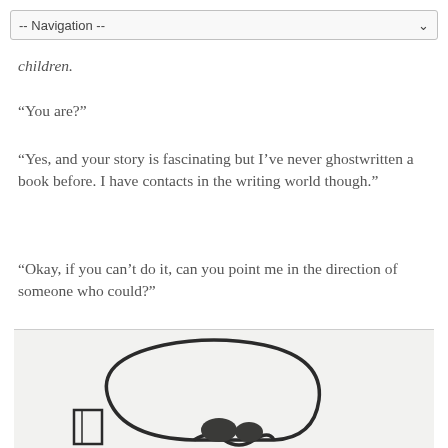-- Navigation --
children.
“You are?”
“Yes, and your story is fascinating but I’ve never ghostwritten a book before. I have contacts in the writing world though.”
“Okay, if you can’t do it, can you point me in the direction of someone who could?”
[Figure (illustration): A hand-drawn ghost figure on white paper, showing a rounded ghost shape outline with what appears to be small dark features at the bottom.]